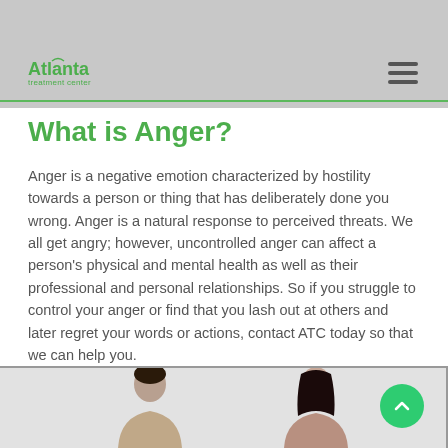Atlanta Treatment Center
What is Anger?
Anger is a negative emotion characterized by hostility towards a person or thing that has deliberately done you wrong. Anger is a natural response to perceived threats. We all get angry; however, uncontrolled anger can affect a person's physical and mental health as well as their professional and personal relationships. So if you struggle to control your anger or find that you lash out at others and later regret your words or actions, contact ATC today so that we can help you.
[Figure (photo): Two people in conflict — a man on the left and a woman on the right, appearing to argue, shown from the shoulders up against a light background.]